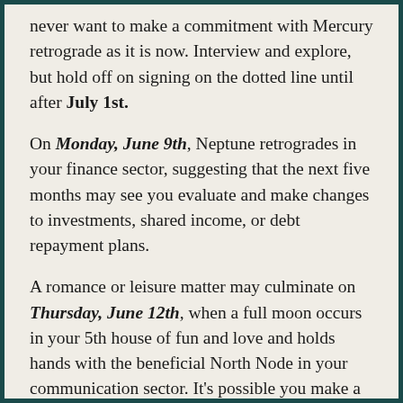never want to make a commitment with Mercury retrograde as it is now. Interview and explore, but hold off on signing on the dotted line until after July 1st.
On Monday, June 9th, Neptune retrogrades in your finance sector, suggesting that the next five months may see you evaluate and make changes to investments, shared income, or debt repayment plans.
A romance or leisure matter may culminate on Thursday, June 12th, when a full moon occurs in your 5th house of fun and love and holds hands with the beneficial North Node in your communication sector. It's possible you make a commitment to your boo, hear big information regarding your child, or finish a creative endeavor. Unfortunately, on this dame day, Venus